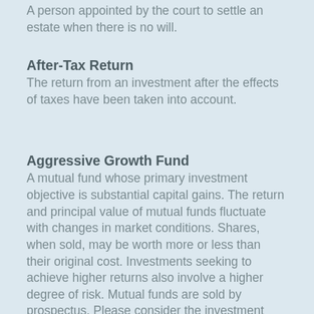A person appointed by the court to settle an estate when there is no will.
After-Tax Return
The return from an investment after the effects of taxes have been taken into account.
Aggressive Growth Fund
A mutual fund whose primary investment objective is substantial capital gains. The return and principal value of mutual funds fluctuate with changes in market conditions. Shares, when sold, may be worth more or less than their original cost. Investments seeking to achieve higher returns also involve a higher degree of risk. Mutual funds are sold by prospectus. Please consider the investment objectives, risks, charges, and expenses carefully before investing. The prospectus, which